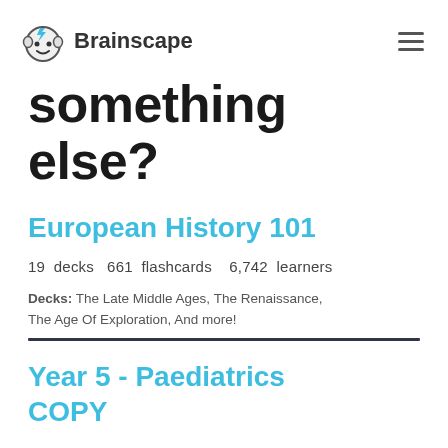Brainscape
something else?
European History 101
19 decks  661 flashcards  6,742 learners
Decks: The Late Middle Ages, The Renaissance, The Age Of Exploration, And more!
Year 5 - Paediatrics COPY